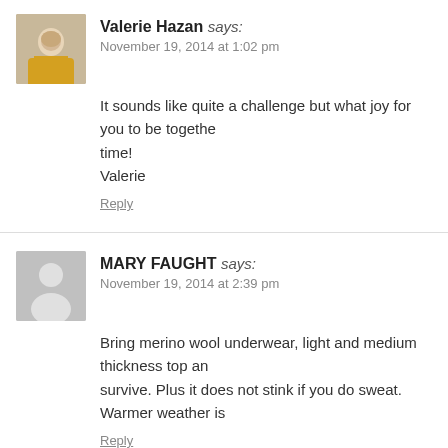Valerie Hazan says:
November 19, 2014 at 1:02 pm
It sounds like quite a challenge but what joy for you to be together time!
Valerie
Reply
MARY FAUGHT says:
November 19, 2014 at 2:39 pm
Bring merino wool underwear, light and medium thickness top and survive. Plus it does not stink if you do sweat. Warmer weather is
Reply
Emily says:
November 19, 2014 at 2:45 pm